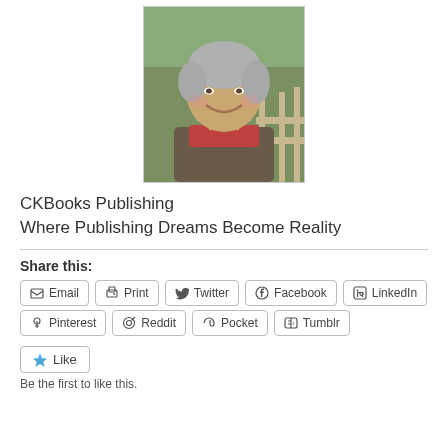[Figure (photo): Portrait photo of a woman with short grey hair, smiling, wearing a red scarf, outdoors with trees in background]
CKBooks Publishing
Where Publishing Dreams Become Reality
Share this:
Email
Print
Twitter
Facebook
LinkedIn
Pinterest
Reddit
Pocket
Tumblr
Like
Be the first to like this.